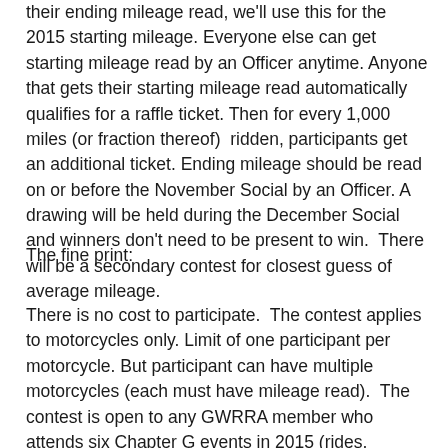their ending mileage read, we'll use this for the 2015 starting mileage. Everyone else can get starting mileage read by an Officer anytime. Anyone that gets their starting mileage read automatically qualifies for a raffle ticket. Then for every 1,000 miles (or fraction thereof)  ridden, participants get an additional ticket. Ending mileage should be read on or before the November Social by an Officer. A drawing will be held during the December Social and winners don't need to be present to win.  There will be a secondary contest for closest guess of average mileage.
The fine print:
There is no cost to participate.  The contest applies to motorcycles only. Limit of one participant per motorcycle. But participant can have multiple motorcycles (each must have mileage read).  The contest is open to any GWRRA member who attends six Chapter G events in 2015 (rides, Socials, etc…) to qualify for the drawing.  Prizes are TBD